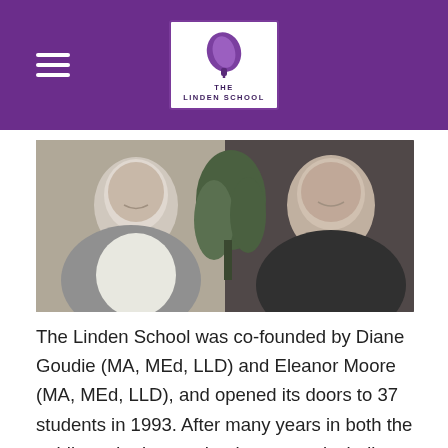The Linden School — navigation header with logo
[Figure (photo): Two smiling women seated together in front of an indoor plant. Left woman wears a grey cardigan over a white top with a purple pendant. Right woman wears a black top with a silver necklace. The photo is the co-founders of The Linden School.]
The Linden School was co-founded by Diane Goudie (MA, MEd, LLD) and Eleanor Moore (MA, MEd, LLD), and opened its doors to 37 students in 1993. After many years in both the public and private school systems, including positions as teachers and administrators at an established independent girls' school, Eleanor and Diane grew concerned that those schools were not meeting the